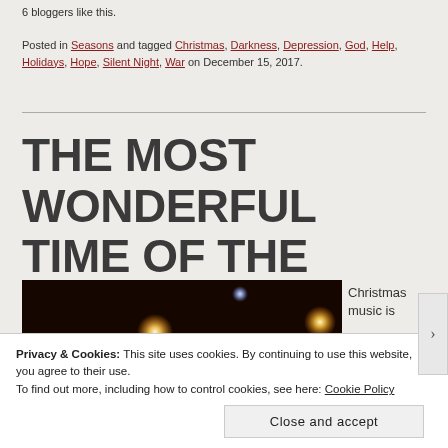6 bloggers like this.
Posted in Seasons and tagged Christmas, Darkness, Depression, God, Help, Holidays, Hope, Silent Night, War on December 15, 2017.
THE MOST WONDERFUL TIME OF THE YEAR?
[Figure (photo): Night sky photo with glowing lights/orbs on a dark background]
Christmas music is
Privacy & Cookies: This site uses cookies. By continuing to use this website, you agree to their use.
To find out more, including how to control cookies, see here: Cookie Policy
Close and accept